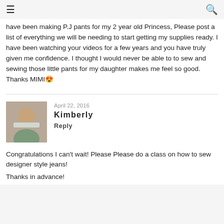☰  🔍
have been making P.J pants for my 2 year old Princess, Please post a list of everything we will be needing to start getting my supplies ready. I have been watching your videos for a few years and you have truly given me confidence. I thought I would never be able to to sew and sewing those little pants for my daughter makes me feel so good. Thanks MIMI😍
April 22, 2016
Kimberly
Reply
Congratulations I can't wait! Please Please do a class on how to sew designer style jeans!
Thanks in advance!